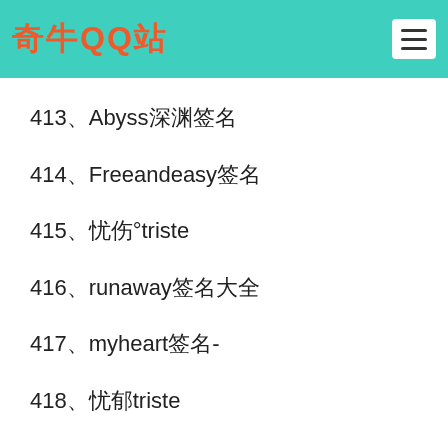奇牛QQ站
413、Abyss深渊签名
414、Freeandeasy签名
415、忧伤°triste
416、runaway签名大全
417、myheart签名-
418、忧郁triste